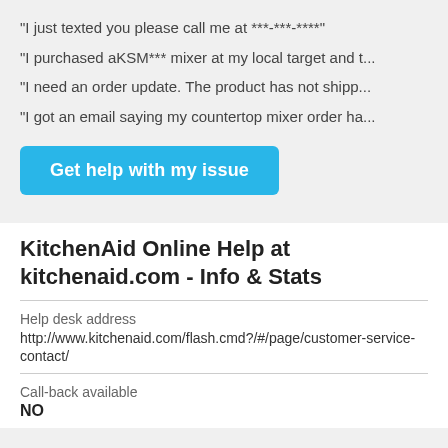"I just texted you please call me at ***-***-****"
"I purchased aKSM*** mixer at my local target and t...
"I need an order update. The product has not shipp...
"I got an email saying my countertop mixer order ha...
Get help with my issue
KitchenAid Online Help at kitchenaid.com - Info & Stats
Help desk address
http://www.kitchenaid.com/flash.cmd?/#/page/customer-service-contact/
Call-back available
NO